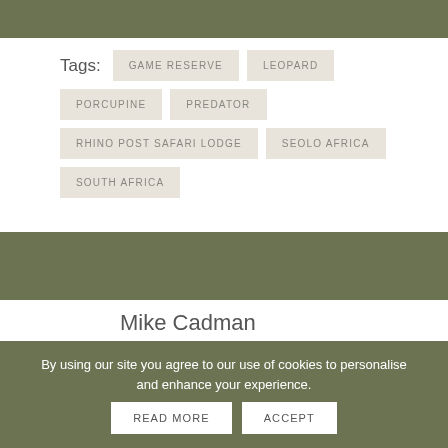GAME RESERVE
LEOPARD
PORCUPINE
PREDATOR
RHINO POST SAFARI LODGE
SEOLO AFRICA
SOUTH AFRICA
Mike Cadman
Mike has worked as a journalist for a variety of
By using our site you agree to our use of cookies to personalise and enhance your experience.
READ MORE
ACCEPT